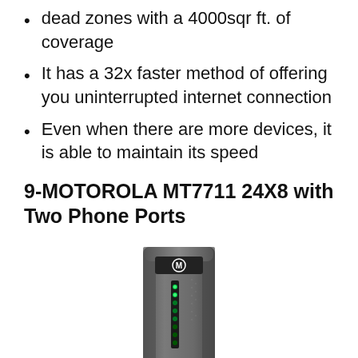dead zones with a 4000sqr ft. of coverage
It has a 32x faster method of offering you uninterrupted internet connection
Even when there are more devices, it is able to maintain its speed
9-MOTOROLA MT7711 24X8 with Two Phone Ports
[Figure (photo): Motorola MT7711 24X8 cable modem with two phone ports, shown as a tall dark gray vertical device with LED indicators on the front]